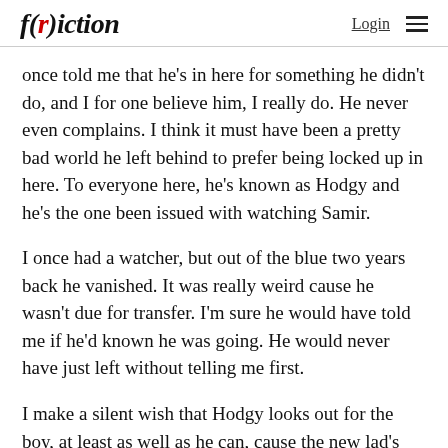f(r)iction   Login ≡
once told me that he's in here for something he didn't do, and I for one believe him, I really do. He never even complains. I think it must have been a pretty bad world he left behind to prefer being locked up in here. To everyone here, he's known as Hodgy and he's the one been issued with watching Samir.
I once had a watcher, but out of the blue two years back he vanished. It was really weird cause he wasn't due for transfer. I'm sure he would have told me if he'd known he was going. He would never have just left without telling me first.
I make a silent wish that Hodgy looks out for the boy, at least as well as he can, cause the new lad's yet another famil…